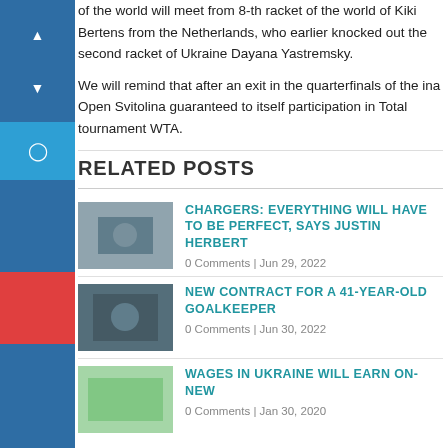of the world will meet from 8-th racket of the world of Kiki Bertens from the Netherlands, who earlier knocked out the second racket of Ukraine Dayana Yastremsky.
We will remind that after an exit in the quarterfinals of the ina Open Svitolina guaranteed to itself participation in Total tournament WTA.
RELATED POSTS
CHARGERS: EVERYTHING WILL HAVE TO BE PERFECT, SAYS JUSTIN HERBERT
0 Comments | Jun 29, 2022
NEW CONTRACT FOR A 41-YEAR-OLD GOALKEEPER
0 Comments | Jun 30, 2022
WAGES IN UKRAINE WILL EARN ON-NEW
0 Comments | Jan 30, 2020